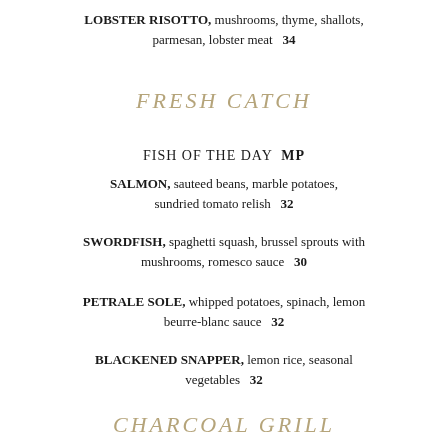LOBSTER RISOTTO, mushrooms, thyme, shallots, parmesan, lobster meat  34
FRESH CATCH
FISH OF THE DAY  MP
SALMON, sauteed beans, marble potatoes, sundried tomato relish  32
SWORDFISH, spaghetti squash, brussel sprouts with mushrooms, romesco sauce  30
PETRALE SOLE, whipped potatoes, spinach, lemon beurre-blanc sauce  32
BLACKENED SNAPPER, lemon rice, seasonal vegetables  32
CHARCOAL GRILL